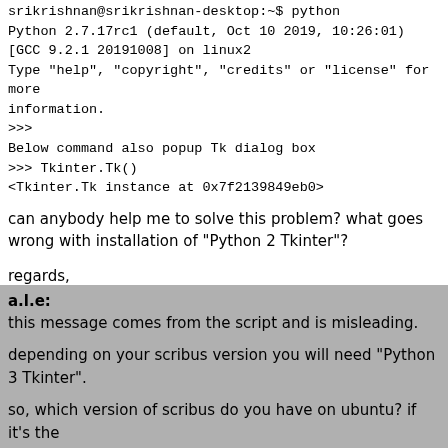srikrishnan@srikrishnan-desktop:~$ python
Python 2.7.17rc1 (default, Oct 10 2019, 10:26:01)
[GCC 9.2.1 20191008] on linux2
Type "help", "copyright", "credits" or "license" for more information.
>>>
Below command also popup Tk dialog box
>>> Tkinter.Tk()
<Tkinter.Tk instance at 0x7f2139849eb0>
can anybody help me to solve this problem? what goes wrong with installation of "Python 2 Tkinter"?
regards,
Srikrishnan
a.l.e:
this message comes from the script and is misleading.

depending on your scribus version you will need "Python 3 Tkinter".

so, which version of scribus do you have on ubuntu? if it's the